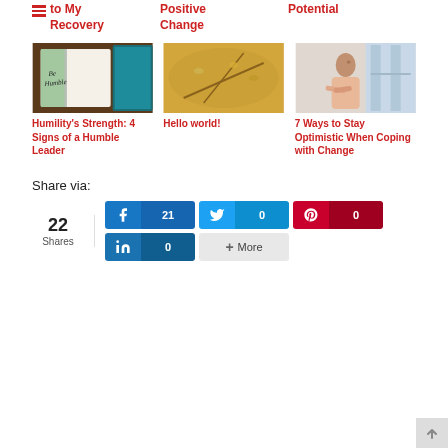to My Recovery
Positive Change
Potential
[Figure (photo): Notebook with sticky note reading 'Be Humble']
Humility's Strength: 4 Signs of a Humble Leader
[Figure (photo): Close-up of autumn branches with blurred background]
Hello world!
[Figure (photo): Woman looking out window with arms crossed, smiling]
7 Ways to Stay Optimistic When Coping with Change
Share via:
22 Shares
21
0
0
0
+ More